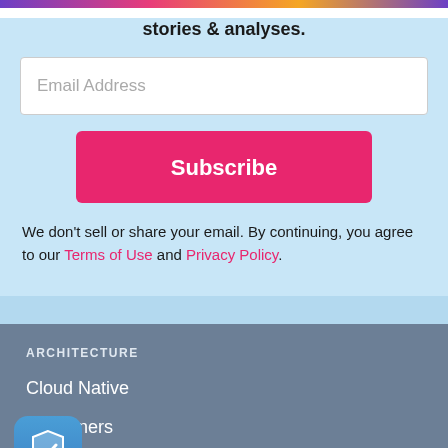The newsletter digest of the week's most important stories & analyses.
[Figure (screenshot): Email Address input field (white box with placeholder text)]
[Figure (screenshot): Pink Subscribe button]
We don't sell or share your email. By continuing, you agree to our Terms of Use and Privacy Policy.
ARCHITECTURE
Cloud Native
Containers
e/IoT
Microservices